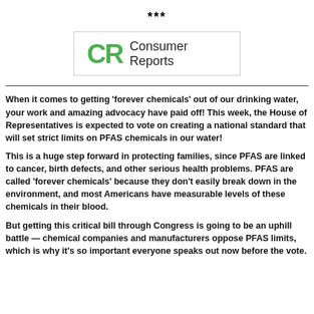***
[Figure (logo): Consumer Reports logo: green CR letters with 'Consumer Reports' text beside it, inside a bordered box]
When it comes to getting ‘forever chemicals’ out of our drinking water, your work and amazing advocacy have paid off! This week, the House of Representatives is expected to vote on creating a national standard that will set strict limits on PFAS chemicals in our water!
This is a huge step forward in protecting families, since PFAS are linked to cancer, birth defects, and other serious health problems. PFAS are called ‘forever chemicals’ because they don’t easily break down in the environment, and most Americans have measurable levels of these chemicals in their blood.
But getting this critical bill through Congress is going to be an uphill battle — chemical companies and manufacturers oppose PFAS limits, which is why it’s so important everyone speaks out now before the vote.